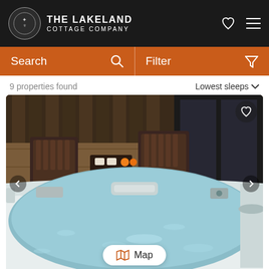THE LAKELAND COTTAGE COMPANY
Search
Filter
9 properties found
Lowest sleeps
[Figure (photo): Hot tub on a wooden deck with wicker furniture and a glass door in the background at a holiday cottage property]
Map